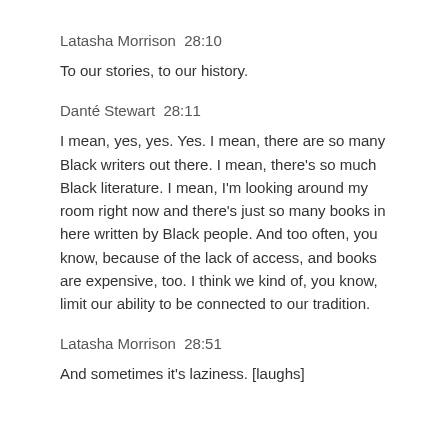Latasha Morrison  28:10
To our stories, to our history.
Danté Stewart  28:11
I mean, yes, yes. Yes. I mean, there are so many Black writers out there. I mean, there's so much Black literature. I mean, I'm looking around my room right now and there's just so many books in here written by Black people. And too often, you know, because of the lack of access, and books are expensive, too. I think we kind of, you know, limit our ability to be connected to our tradition.
Latasha Morrison  28:51
And sometimes it's laziness. [laughs]